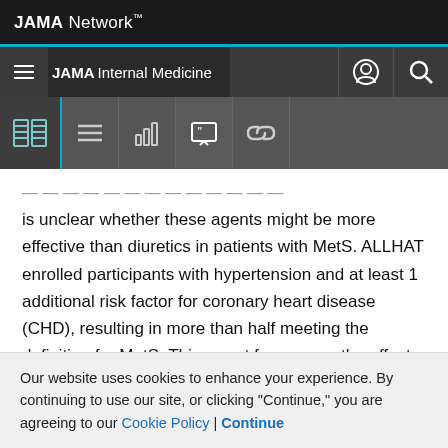JAMA Network
JAMA Internal Medicine
...is unclear whether these agents might be more effective than diuretics in patients with MetS. ALLHAT enrolled participants with hypertension and at least 1 additional risk factor for coronary heart disease (CHD), resulting in more than half meeting the definition for MetS. This report focuses on the effects by treatment group and race on cardiovascular and renal outcomes in ALLHAT participants with MetS.
Our website uses cookies to enhance your experience. By continuing to use our site, or clicking "Continue," you are agreeing to our Cookie Policy | Continue